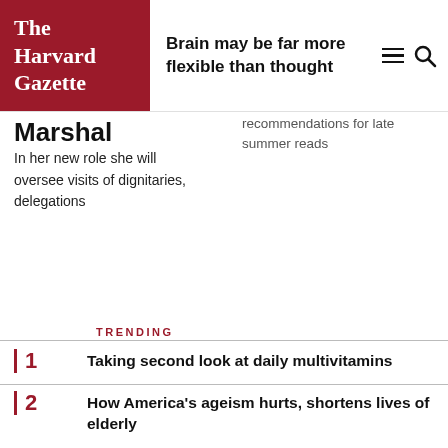The Harvard Gazette | Brain may be far more flexible than thought
Marshal
In her new role she will oversee visits of dignitaries, delegations
recommendations for late summer reads
TRENDING
1 Taking second look at daily multivitamins
2 How America's ageism hurts, shortens lives of elderly
3 Turns out you likely don't need vitamin D supplements for strong bones
4 Can Amazon remake health care?